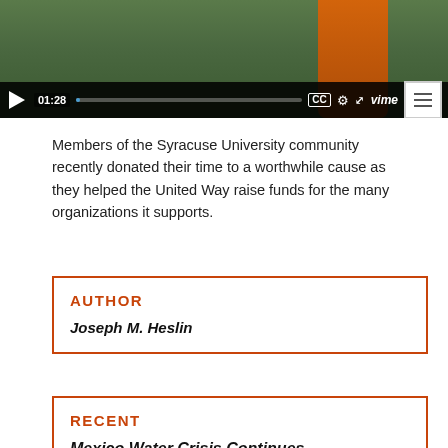[Figure (screenshot): Vimeo video player showing a paused/playing video with green background, orange figure on right. Controls show play button, timestamp 01:28, progress bar, CC button, settings, fullscreen, Vimeo logo, and menu icon.]
Members of the Syracuse University community recently donated their time to a worthwhile cause as they helped the United Way raise funds for the many organizations it supports.
AUTHOR
Joseph M. Heslin
RECENT
Mexico Water Crisis Continues – Perspectives from